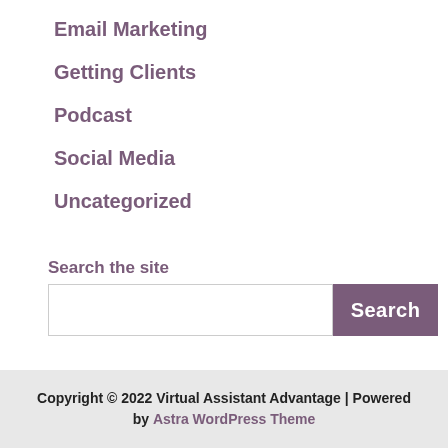Email Marketing
Getting Clients
Podcast
Social Media
Uncategorized
Search the site
Copyright © 2022 Virtual Assistant Advantage | Powered by Astra WordPress Theme